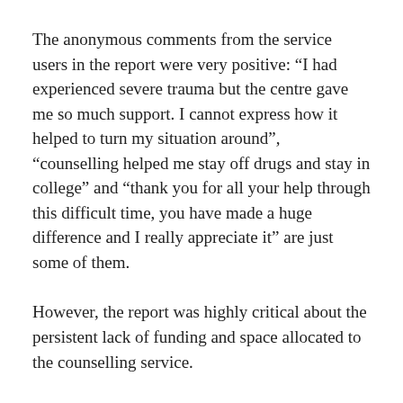The anonymous comments from the service users in the report were very positive: “I had experienced severe trauma but the centre gave me so much support. I cannot express how it helped to turn my situation around”, “counselling helped me stay off drugs and stay in college” and “thank you for all your help through this difficult time, you have made a huge difference and I really appreciate it” are just some of them.
However, the report was highly critical about the persistent lack of funding and space allocated to the counselling service.
The average waiting time for ongoing counselling appointments last year was 17.7 days. There was an increase of four days in waiting times for first